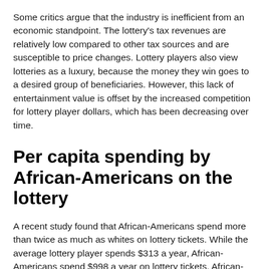Some critics argue that the industry is inefficient from an economic standpoint. The lottery's tax revenues are relatively low compared to other tax sources and are susceptible to price changes. Lottery players also view lotteries as a luxury, because the money they win goes to a desired group of beneficiaries. However, this lack of entertainment value is offset by the increased competition for lottery player dollars, which has been decreasing over time.
Per capita spending by African-Americans on the lottery
A recent study found that African-Americans spend more than twice as much as whites on lottery tickets. While the average lottery player spends $313 a year, African-Americans spend $998 a year on lottery tickets. African-Americans spend more